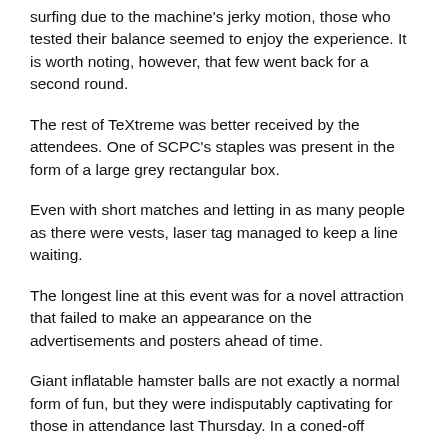surfing due to the machine's jerky motion, those who tested their balance seemed to enjoy the experience. It is worth noting, however, that few went back for a second round.
The rest of TeXtreme was better received by the attendees. One of SCPC's staples was present in the form of a large grey rectangular box.
Even with short matches and letting in as many people as there were vests, laser tag managed to keep a line waiting.
The longest line at this event was for a novel attraction that failed to make an appearance on the advertisements and posters ahead of time.
Giant inflatable hamster balls are not exactly a normal form of fun, but they were indisputably captivating for those in attendance last Thursday. In a coned-off